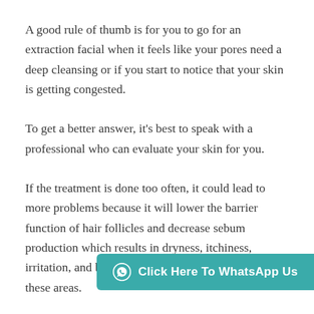A good rule of thumb is for you to go for an extraction facial when it feels like your pores need a deep cleansing or if you start to notice that your skin is getting congested.
To get a better answer, it's best to speak with a professional who can evaluate your skin for you.
If the treatment is done too often, it could lead to more problems because it will lower the barrier function of hair follicles and decrease sebum production which results in dryness, itchiness, irritation, and breakouts when bacteria overgrows on these areas.
Furthermore, there considered to determine how often you need a facial
[Figure (other): WhatsApp CTA button with teal background reading 'Click Here To WhatsApp Us' with WhatsApp icon]